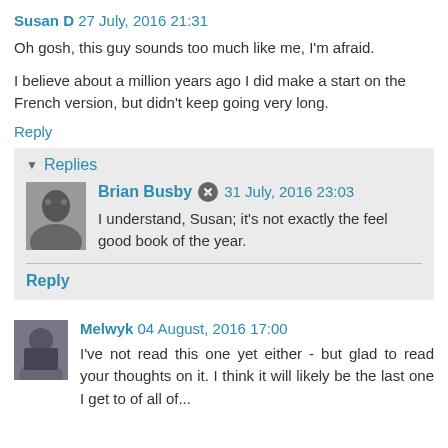Susan D 27 July, 2016 21:31
Oh gosh, this guy sounds too much like me, I'm afraid.
I believe about a million years ago I did make a start on the French version, but didn't keep going very long.
Reply
Replies
Brian Busby  31 July, 2016 23:03
I understand, Susan; it's not exactly the feel good book of the year.
Reply
Melwyk 04 August, 2016 17:00
I've not read this one yet either - but glad to read your thoughts on it. I think it will likely be the last one I get to of all of...